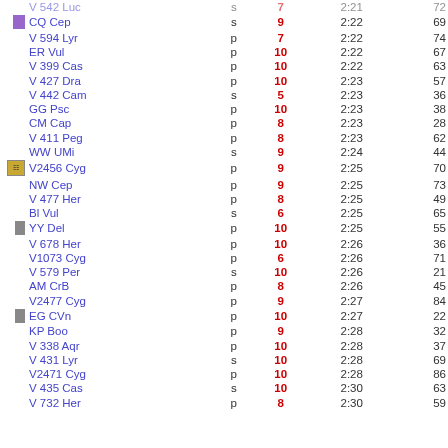| icon | name | type | mag | time | num |
| --- | --- | --- | --- | --- | --- |
|  | V 542 Luc | s | 7 | 2:21 | 72 |
| purple | CQ Cep | s | 9 | 2:22 | 69 |
|  | V 594 Lyr | p | 7 | 2:22 | 74 |
|  | ER Vul | p | 10 | 2:22 | 67 |
|  | V 399 Cas | p | 10 | 2:22 | 63 |
|  | V 427 Dra | p | 10 | 2:23 | 57 |
|  | V 442 Cam | s | 5 | 2:23 | 36 |
|  | GG Psc | p | 10 | 2:23 | 38 |
|  | CM Cap | p | 8 | 2:23 | 28 |
|  | V 411 Peg | p | 8 | 2:23 | 62 |
|  | WW UMi | s | 9 | 2:24 | 44 |
| gold | V2456 Cyg | p | 9 | 2:25 | 70 |
|  | NW Cep | p | 9 | 2:25 | 73 |
|  | V 477 Her | p | 8 | 2:25 | 49 |
|  | Bl Vul | s | 6 | 2:25 | 65 |
| gray | YY Del | p | 10 | 2:25 | 55 |
|  | V 678 Her | p | 10 | 2:26 | 36 |
|  | V1073 Cyg | p | 6 | 2:26 | 71 |
|  | V 579 Per | s | 10 | 2:26 | 21 |
|  | AM CrB | p | 8 | 2:26 | 45 |
|  | V2477 Cyg | p | 9 | 2:27 | 84 |
| gray | EG CVn | p | 10 | 2:27 | 22 |
|  | KP Boo | p | 9 | 2:28 | 32 |
|  | V 338 Aqr | p | 10 | 2:28 | 37 |
|  | V 431 Lyr | s | 10 | 2:28 | 69 |
|  | V2471 Cyg | p | 10 | 2:28 | 86 |
|  | V 435 Cas | s | 10 | 2:30 | 63 |
|  | V 732 Her | p | 8 | 2:30 | 59 |